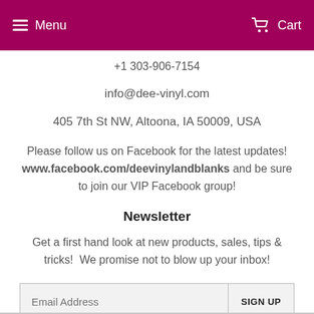Menu | Cart
+1 303-906-7154
info@dee-vinyl.com
405 7th St NW, Altoona, IA 50009, USA
Please follow us on Facebook for the latest updates! www.facebook.com/deevinylandblanks and be sure to join our VIP Facebook group!
Newsletter
Get a first hand look at new products, sales, tips & tricks!  We promise not to blow up your inbox!
Email Address  SIGN UP